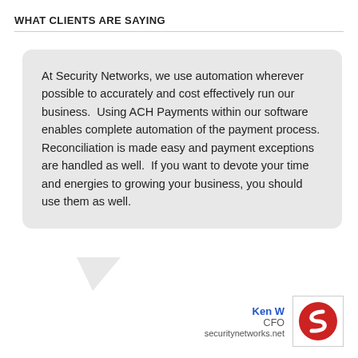WHAT CLIENTS ARE SAYING
At Security Networks, we use automation wherever possible to accurately and cost effectively run our business. Using ACH Payments within our software enables complete automation of the payment process. Reconciliation is made easy and payment exceptions are handled as well. If you want to devote your time and energies to growing your business, you should use them as well.
Ken W
CFO
securitynetworks.net
[Figure (logo): Security Networks red circular logo with stylized S shape]